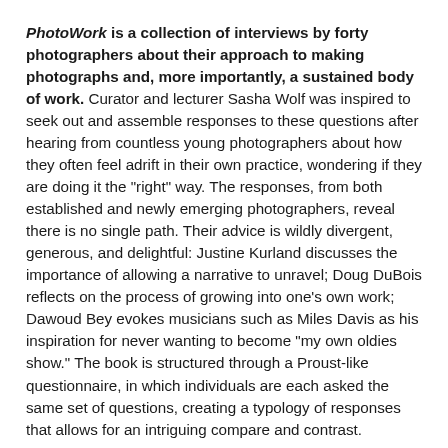PhotoWork is a collection of interviews by forty photographers about their approach to making photographs and, more importantly, a sustained body of work. Curator and lecturer Sasha Wolf was inspired to seek out and assemble responses to these questions after hearing from countless young photographers about how they often feel adrift in their own practice, wondering if they are doing it the "right" way. The responses, from both established and newly emerging photographers, reveal there is no single path. Their advice is wildly divergent, generous, and delightful: Justine Kurland discusses the importance of allowing a narrative to unravel; Doug DuBois reflects on the process of growing into one's own work; Dawoud Bey evokes musicians such as Miles Davis as his inspiration for never wanting to become "my own oldies show." The book is structured through a Proust-like questionnaire, in which individuals are each asked the same set of questions, creating a typology of responses that allows for an intriguing compare and contrast.
Including Robert Adams, Dawoud Bey, Alejandro Cartagena, Elinor Carucci, John Chiara, Kelli Connell, Lois Conner, Matthew Connors, Siân Davey, Doug DuBois, John Edmonds, LaToya Ruby Frazier, Paul Graham, Katy Grannan, Gregory Halpern, Curran...